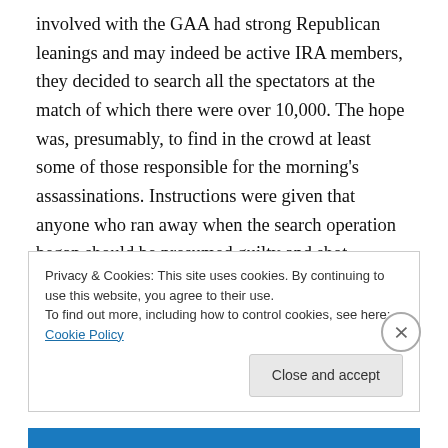involved with the GAA had strong Republican leanings and may indeed be active IRA members, they decided to search all the spectators at the match of which there were over 10,000. The hope was, presumably, to find in the crowd at least some of those responsible for the morning's assassinations. Instructions were given that anyone who ran away when the search operation began should be presumed guilty and shot.

News about the morning's events had spread through Dublin that morning and it was widely anticipated that the
Privacy & Cookies: This site uses cookies. By continuing to use this website, you agree to their use.
To find out more, including how to control cookies, see here: Cookie Policy